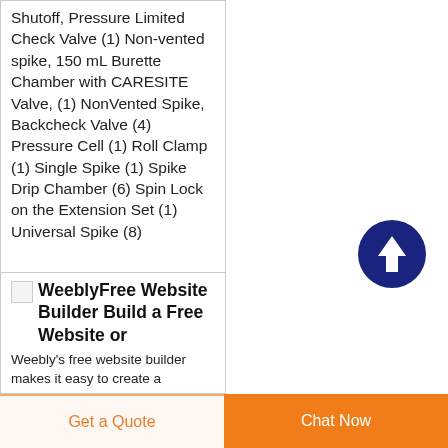Shutoff, Pressure Limited Check Valve (1) Non-vented spike, 150 mL Burette Chamber with CARESITE Valve, (1) NonVented Spike, Backcheck Valve (4) Pressure Cell (1) Roll Clamp (1) Single Spike (1) Spike Drip Chamber (6) Spin Lock on the Extension Set (1) Universal Spike (8)
[Figure (other): Dark blue circular scroll-to-top button with upward arrow icon]
[Figure (screenshot): Weebly logo icon (small broken image placeholder) followed by bold heading 'WeeblyFree Website Builder Build a Free Website or' and text 'Weebly’s free website builder makes it easy to create a']
Get a Quote  Chat Now